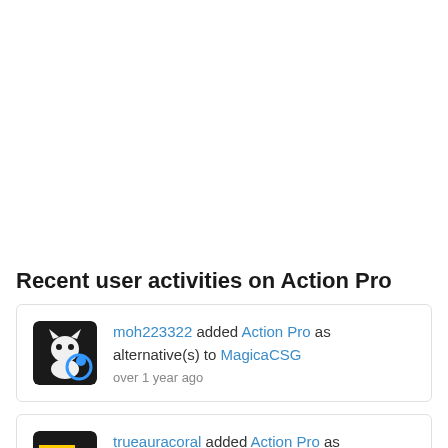Recent user activities on Action Pro
moh223322 added Action Pro as alternative(s) to MagicaCSG
over 1 year ago
trueauracoral added Action Pro as alternative(s)